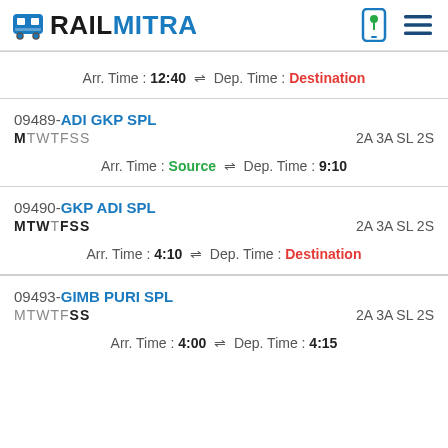RAILMITRA
Arr. Time : 12:40 ⇌ Dep. Time : Destination
09489-ADI GKP SPL
MTWTFSS	2A 3A SL 2S
Arr. Time : Source ⇌ Dep. Time : 9:10
09490-GKP ADI SPL
MTWTFSS	2A 3A SL 2S
Arr. Time : 4:10 ⇌ Dep. Time : Destination
09493-GIMB PURI SPL
MTWTFSS	2A 3A SL 2S
Arr. Time : 4:00 ⇌ Dep. Time : 4:15